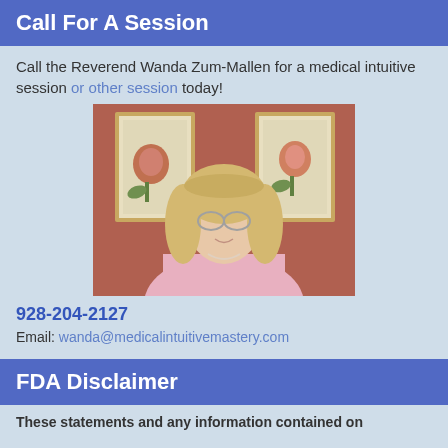Call For A Session
Call the Reverend Wanda Zum-Mallen for a medical intuitive session or other session today!
[Figure (photo): A blonde woman wearing glasses and a pink blouse, seated in a chair, with two framed floral prints on a reddish-brown wall behind her.]
928-204-2127
Email: wanda@medicalintuitivemastery.com
FDA Disclaimer
These statements and any information contained on